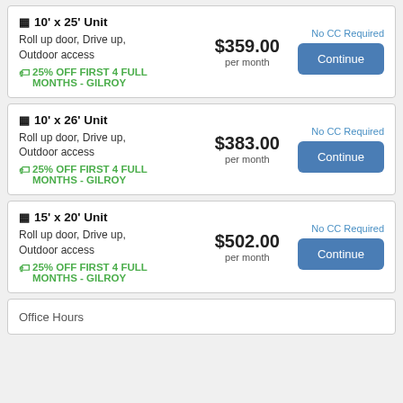10' x 25' Unit
Roll up door, Drive up, Outdoor access
25% OFF FIRST 4 FULL MONTHS - GILROY
$359.00 per month
No CC Required
Continue
10' x 26' Unit
Roll up door, Drive up, Outdoor access
25% OFF FIRST 4 FULL MONTHS - GILROY
$383.00 per month
No CC Required
Continue
15' x 20' Unit
Roll up door, Drive up, Outdoor access
25% OFF FIRST 4 FULL MONTHS - GILROY
$502.00 per month
No CC Required
Continue
Office Hours